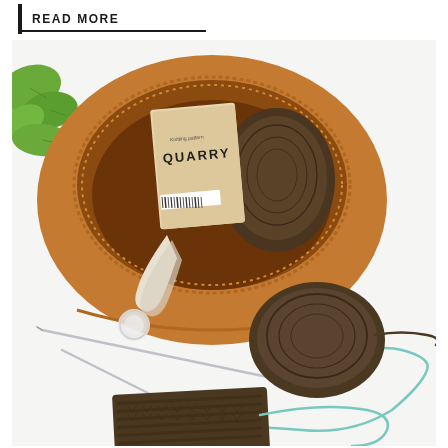READ MORE
[Figure (photo): Overhead flat-lay photo showing a brown suede drawstring knitting bag from above, containing a skein of dark brown yarn and a QUARRY branded card/book inside. Around the bag on a white surface: a ball of dark brown yarn, circular knitting needles with teal cable, a small clear lid/button, and a partially knitted dark brown swatch.]